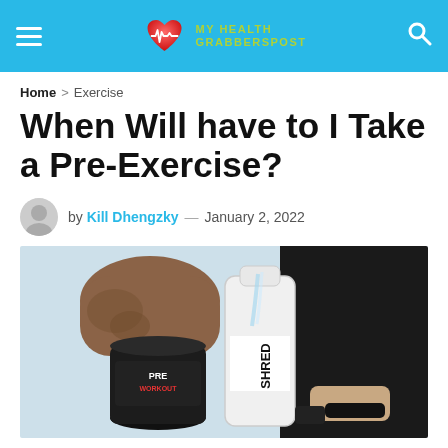MY HEALTH GRABBERSPOST
Home > Exercise
When Will have to I Take a Pre-Exercise?
by Kill Dhengzky — January 2, 2022
[Figure (photo): Person pouring pre-workout supplement powder into a shaker bottle labeled SHRED, with a pre-workout container on the left]